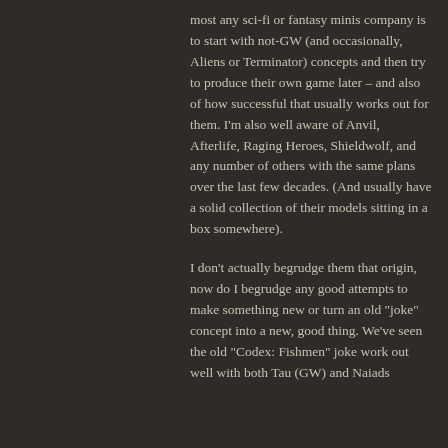most any sci-fi or fantasy minis company is to start with not-GW (and occasionally, Aliens or Terminator) concepts and then try to produce their own game later – and also of how successful that usually works out for them. I'm also well aware of Anvil, Afterlife, Raging Heroes, Shieldwolf, and any number of others with the same plans over the last few decades. (And usually have a solid collection of their models sitting in a box somewhere).
I don't actually begrudge them that origin, now do I begrudge any good attempts to make something new or turn an old "joke" concept into a new, good thing. We've seen the old "Codex: Fishmen" joke work out well with both Tau (GW) and Naiads